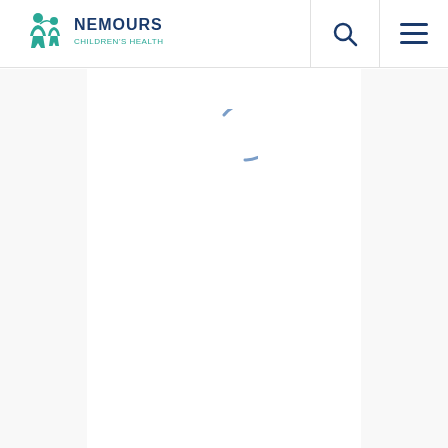[Figure (logo): Nemours Children's Health logo with teal icon of two figures and text 'NEMOURS CHILDREN'S HEALTH']
[Figure (other): Loading spinner — partial circle arc in blue-grey color indicating page content is loading]